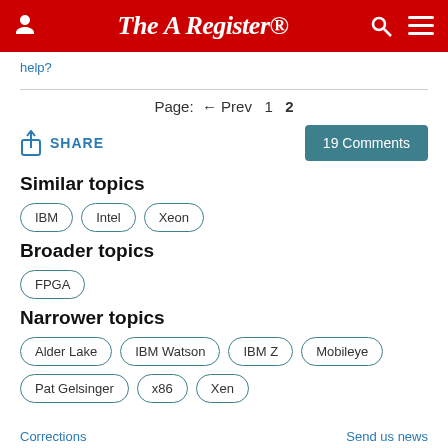The Register
help?
Page: ← Prev 1 2
SHARE    19 Comments
Similar topics
IBM
Intel
Xeon
Broader topics
FPGA
Narrower topics
Alder Lake
IBM Watson
IBM Z
Mobileye
Pat Gelsinger
x86
Xen
Corrections    Send us news